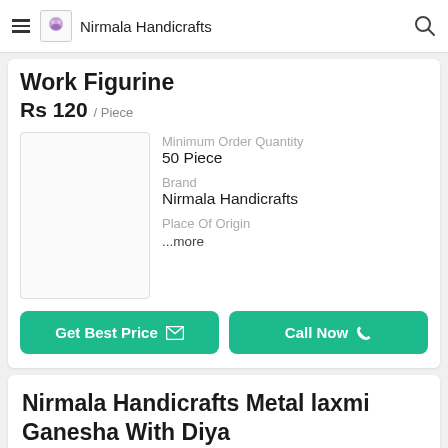Nirmala Handicrafts
Work Figurine
Rs 120 / Piece
Minimum Order Quantity
50 Piece
Brand
Nirmala Handicrafts
Place Of Origin
...more
Get Best Price   Call Now
Nirmala Handicrafts Metal laxmi Ganesha With Diya